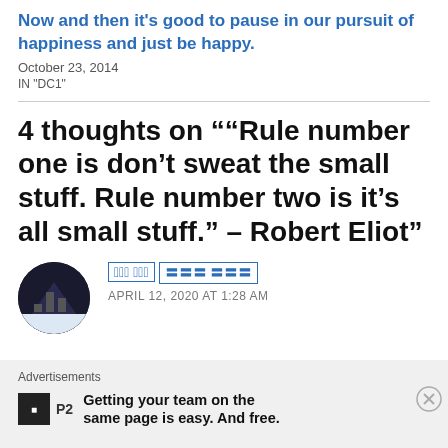Now and then it’s good to pause in our pursuit of happiness and just be happy.
October 23, 2014
IN "DC1"
4 thoughts on ““Rule number one is don’t sweat the small stuff. Rule number two is it’s all small stuff.” – Robert Eliot”
??? ??? APRIL 12, 2020 AT 1:28 AM
Advertisements
P2 Getting your team on the same page is easy. And free.